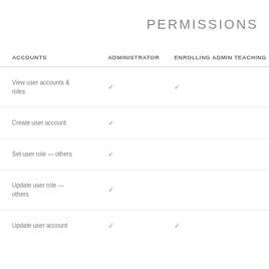PERMISSIONS
| ACCOUNTS | ADMINISTRATOR | ENROLLING ADMIN | TEACHING |
| --- | --- | --- | --- |
| View user accounts & roles | ✓ | ✓ |  |
| Create user account | ✓ |  |  |
| Set user role — others | ✓ |  |  |
| Update user role — others | ✓ |  |  |
| Update user account | ✓ | ✓ |  |